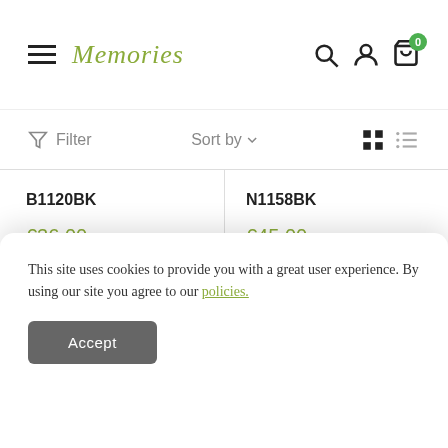Memories — navigation header with hamburger menu, logo, search, account, and cart icons
Filter  Sort by  [grid view icons]
B1120BK
€36,00
In stock
N1158BK
€45,00
In stock
[Figure (photo): Red jewelry box with gold bracelet on blue-grey background]
[Figure (photo): Light-colored thin sticks or reeds on pale background]
This site uses cookies to provide you with a great user experience. By using our site you agree to our policies.
Accept